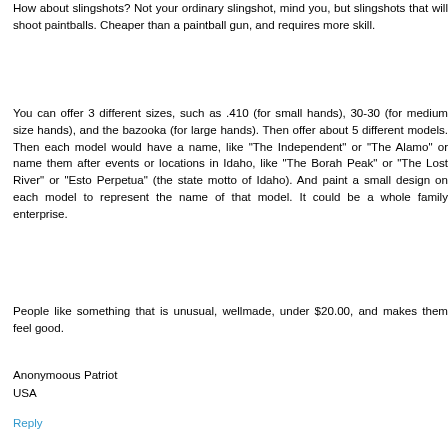How about slingshots? Not your ordinary slingshot, mind you, but slingshots that will shoot paintballs. Cheaper than a paintball gun, and requires more skill.
You can offer 3 different sizes, such as .410 (for small hands), 30-30 (for medium size hands), and the bazooka (for large hands). Then offer about 5 different models. Then each model would have a name, like "The Independent" or "The Alamo" or name them after events or locations in Idaho, like "The Borah Peak" or "The Lost River" or "Esto Perpetua" (the state motto of Idaho). And paint a small design on each model to represent the name of that model. It could be a whole family enterprise.
People like something that is unusual, wellmade, under $20.00, and makes them feel good.
Anonymoous Patriot
USA
Reply